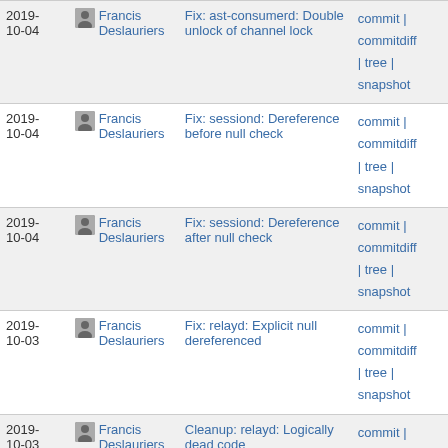| Date | Author | Commit message | Links |
| --- | --- | --- | --- |
| 2019-10-04 | Francis Deslauriers | Fix: ast-consumerd: Double unlock of channel lock | commit | commitdiff | tree | snapshot |
| 2019-10-04 | Francis Deslauriers | Fix: sessiond: Dereference before null check | commit | commitdiff | tree | snapshot |
| 2019-10-04 | Francis Deslauriers | Fix: sessiond: Dereference after null check | commit | commitdiff | tree | snapshot |
| 2019-10-03 | Francis Deslauriers | Fix: relayd: Explicit null dereferenced | commit | commitdiff | tree | snapshot |
| 2019-10-03 | Francis Deslauriers | Cleanup: relayd: Logically dead code | commit | commitdiff | tree | snapshot |
| 2019-10-03 | Francis Deslauriers | Fix: enable_events.c: typo in `WARNING` message | commit | commitdiff |